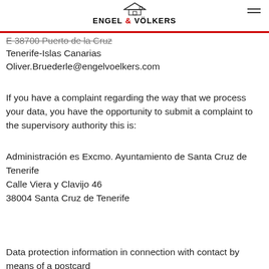ENGEL & VÖLKERS
E 38700 Puerto de la Cruz
Tenerife-Islas Canarias
Oliver.Bruederle@engelvoelkers.com
If you have a complaint regarding the way that we process your data, you have the opportunity to submit a complaint to the supervisory authority this is:
Administración es Excmo. Ayuntamiento de Santa Cruz de Tenerife
Calle Viera y Clavijo 46
38004 Santa Cruz de Tenerife
Data protection information in connection with contact by means of a postcard